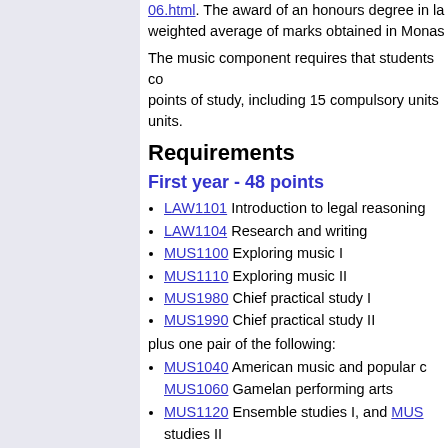06.html. The award of an honours degree in law weighted average of marks obtained in Monash
The music component requires that students co points of study, including 15 compulsory units units.
Requirements
First year - 48 points
LAW1101 Introduction to legal reasoning
LAW1104 Research and writing
MUS1100 Exploring music I
MUS1110 Exploring music II
MUS1980 Chief practical study I
MUS1990 Chief practical study II
plus one pair of the following:
MUS1040 American music and popular culture MUS1060 Gamelan performing arts
MUS1120 Ensemble studies I, and MUS studies II